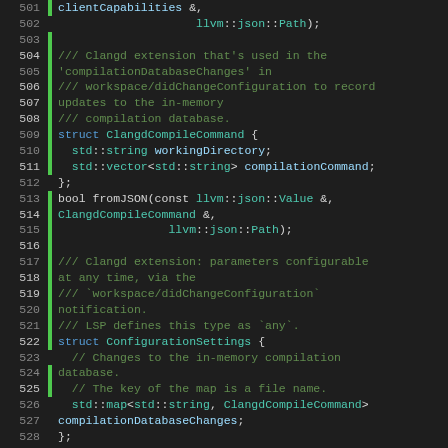[Figure (screenshot): Source code viewer showing C++ code lines 501-525, with line numbers in gutter, green coverage bars, and syntax highlighting. The code shows struct definitions and fromJSON declarations for ClangdCompileCommand and ConfigurationSettings in a clangd LSP extension.]